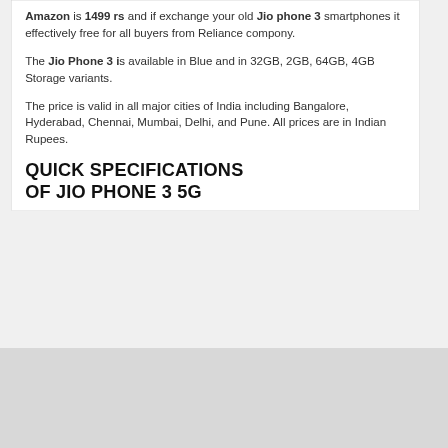Amazon is 1499 rs and if exchange your old Jio phone 3 smartphones it effectively free for all buyers from Reliance compony.
The Jio Phone 3 i s available in Blue and in 32GB, 2GB, 64GB, 4GB Storage variants.
The price is valid in all major cities of India including Bangalore, Hyderabad, Chennai, Mumbai, Delhi, and Pune. All prices are in Indian Rupees.
QUICK SPECIFICATIONS OF JIO PHONE 3 5G